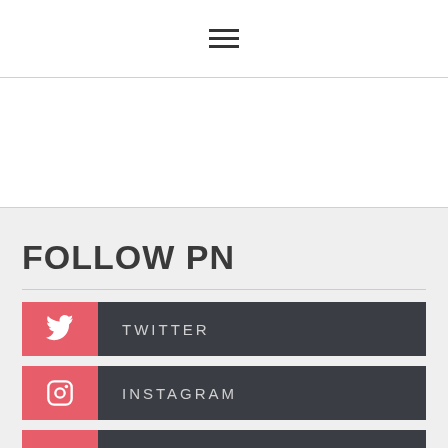hamburger menu icon
FOLLOW PN
TWITTER
INSTAGRAM